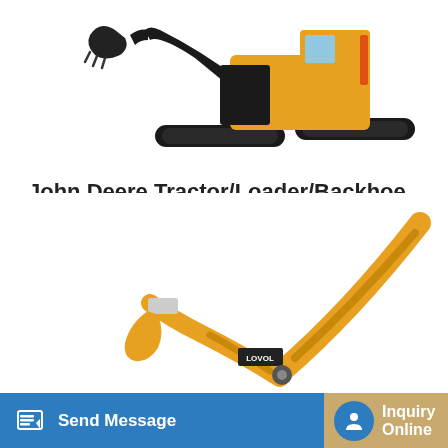[Figure (photo): Yellow and black excavator/backhoe machine on white background, top portion visible]
John Deere Tractor/Loader/Backhoe for Sale New & Used
call to ensure pricing and availibitly.* ag-pro is the largest john deere dealer with a wide variety of ag tractors, compact utility tractors, gators, commercial and residential...
[Figure (photo): Yellow Lovol backhoe/loader arm machinery partially visible at bottom of page]
Send Message
Inquiry Online